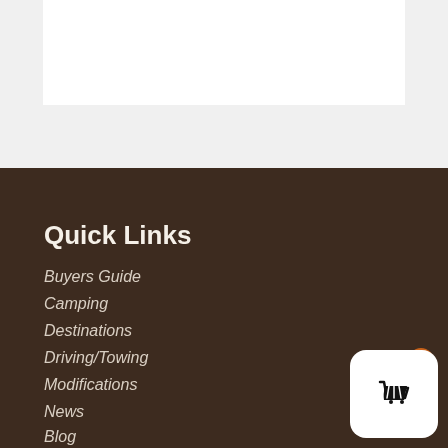[Figure (screenshot): White content card area on light gray background (top portion of webpage)]
Quick Links
Buyers Guide
Camping
Destinations
Driving/Towing
Modifications
News
Blog